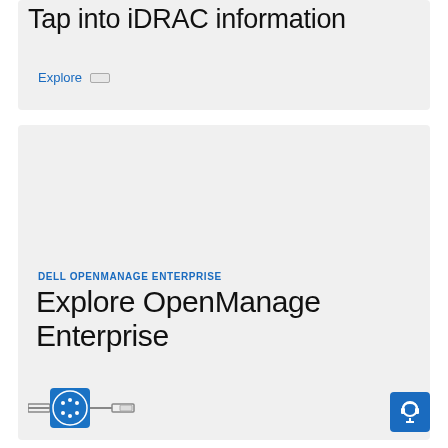Tap into iDRAC information
Explore
[Figure (screenshot): Dell OpenManage Enterprise card with a large grey area placeholder]
DELL OPENMANAGE ENTERPRISE
Explore OpenManage Enterprise
[Figure (logo): Dell cookie/token icon with connector lines and a small dash icon]
[Figure (other): Blue support/headset button in the bottom-right corner]